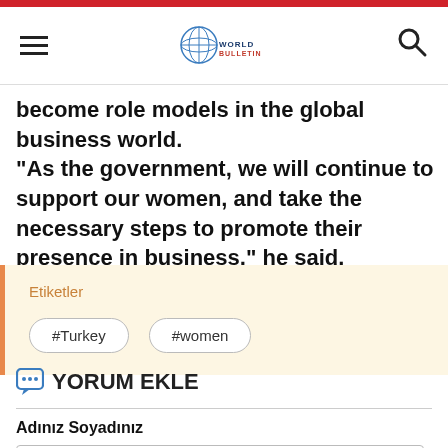World Bulletin
become role models in the global business world. "As the government, we will continue to support our women, and take the necessary steps to promote their presence in business," he said.
Etiketler
#Turkey
#women
YORUM EKLE
Adınız Soyadınız